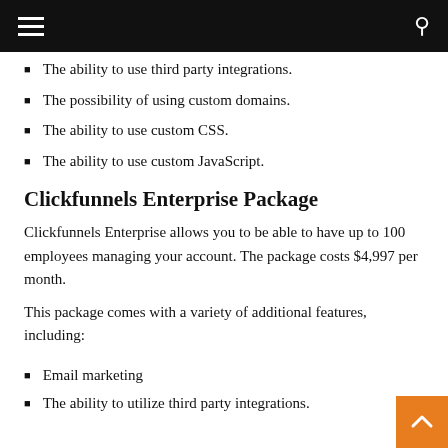The ability to use third party integrations.
The possibility of using custom domains.
The ability to use custom CSS.
The ability to use custom JavaScript.
Clickfunnels Enterprise Package
Clickfunnels Enterprise allows you to be able to have up to 100 employees managing your account. The package costs $4,997 per month.
This package comes with a variety of additional features, including:
Email marketing
The ability to utilize third party integrations.